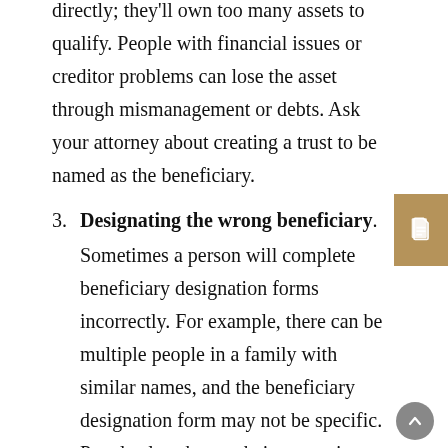directly; they'll own too many assets to qualify. People with financial issues or creditor problems can lose the asset through mismanagement or debts. Ask your attorney about creating a trust to be named as the beneficiary.
3. Designating the wrong beneficiary. Sometimes a person will complete beneficiary designation forms incorrectly. For example, there can be multiple people in a family with similar names, and the beneficiary designation form may not be specific. People also change their names in marriage or divorce. Assets owners can also assume a person's legal name that can later be incorrect. These mistakes can